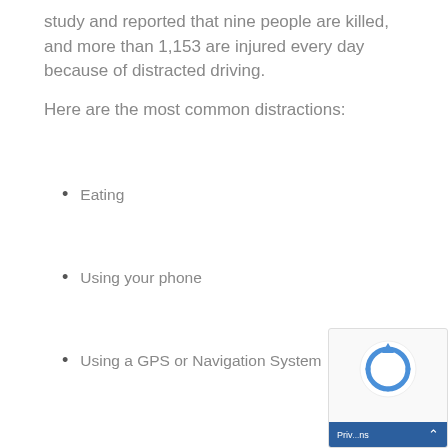study and reported that nine people are killed, and more than 1,153 are injured every day because of distracted driving.
Here are the most common distractions:
Eating
Using your phone
Using a GPS or Navigation System